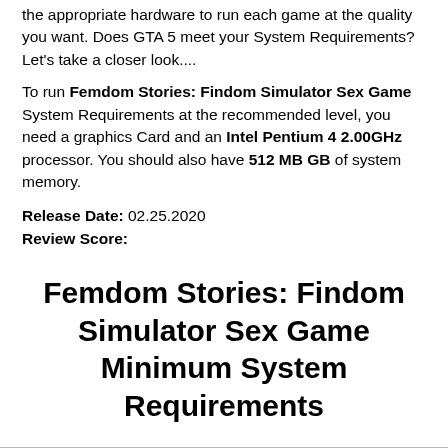the appropriate hardware to run each game at the quality you want. Does GTA 5 meet your System Requirements? Let's take a closer look....
To run Femdom Stories: Findom Simulator Sex Game System Requirements at the recommended level, you need a graphics Card and an Intel Pentium 4 2.00GHz processor. You should also have 512 MB GB of system memory.
Release Date: 02.25.2020
Review Score:
Femdom Stories: Findom Simulator Sex Game Minimum System Requirements